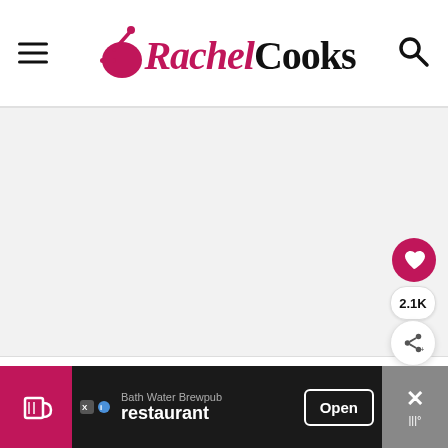Rachel Cooks
[Figure (photo): Large food photo area (white/light grey placeholder), with a heart/favorite FAB button showing 2.1K saves and a share button overlay on the right side]
The crushed chips cling perfectly to the turkey
[Figure (screenshot): Advertisement banner for Bath Water Brewpub restaurant with Open button and close X button]